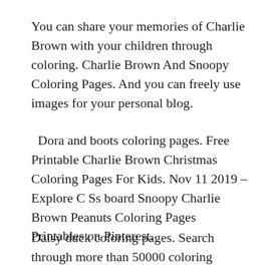You can share your memories of Charlie Brown with your children through coloring. Charlie Brown And Snoopy Coloring Pages. And you can freely use images for your personal blog.
Dora and boots coloring pages. Free Printable Charlie Brown Christmas Coloring Pages For Kids. Nov 11 2019 – Explore C Ss board Snoopy Charlie Brown Peanuts Coloring Pages Printables on Pinterest.
Daisy duck coloring pages. Search through more than 50000 coloring pages. Print these